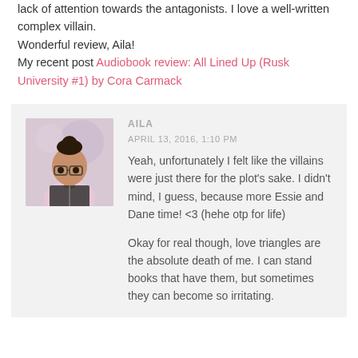lack of attention towards the antagonists. I love a well-written complex villain. Wonderful review, Aila! My recent post Audiobook review: All Lined Up (Rusk University #1) by Cora Carmack
AILA
APRIL 13, 2016, 1:10 PM
Yeah, unfortunately I felt like the villains were just there for the plot's sake. I didn't mind, I guess, because more Essie and Dane time! <3 (hehe otp for life)

Okay for real though, love triangles are the absolute death of me. I can stand books that have them, but sometimes they can become so irritating.